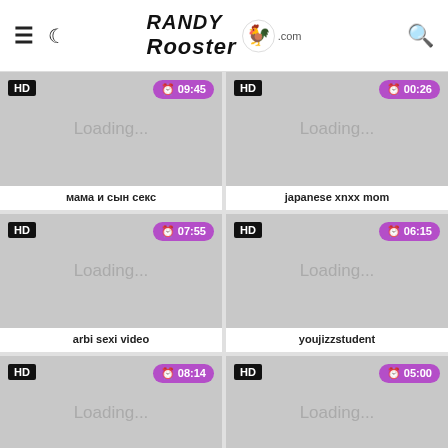Randy Rooster
[Figure (screenshot): Video thumbnail placeholder showing Loading... with HD badge and 09:45 duration]
мама и сын секс
[Figure (screenshot): Video thumbnail placeholder showing Loading... with HD badge and 00:26 duration]
japanese xnxx mom
[Figure (screenshot): Video thumbnail placeholder showing Loading... with HD badge and 07:55 duration]
arbi sexi video
[Figure (screenshot): Video thumbnail placeholder showing Loading... with HD badge and 06:15 duration]
youjizzstudent
[Figure (screenshot): Video thumbnail placeholder showing Loading... with HD badge and 08:14 duration]
[Figure (screenshot): Video thumbnail placeholder showing Loading... with HD badge and 05:00 duration]